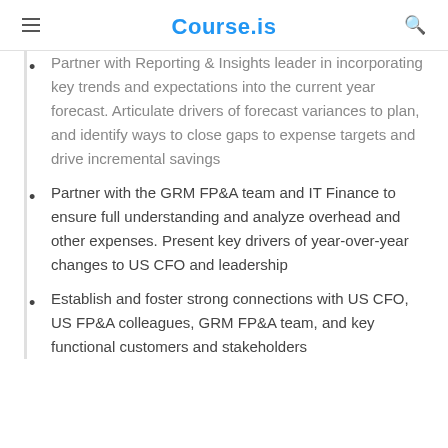Course.is
Partner with Reporting & Insights leader in incorporating key trends and expectations into the current year forecast. Articulate drivers of forecast variances to plan, and identify ways to close gaps to expense targets and drive incremental savings
Partner with the GRM FP&A team and IT Finance to ensure full understanding and analyze overhead and other expenses. Present key drivers of year-over-year changes to US CFO and leadership
Establish and foster strong connections with US CFO, US FP&A colleagues, GRM FP&A team, and key functional customers and stakeholders